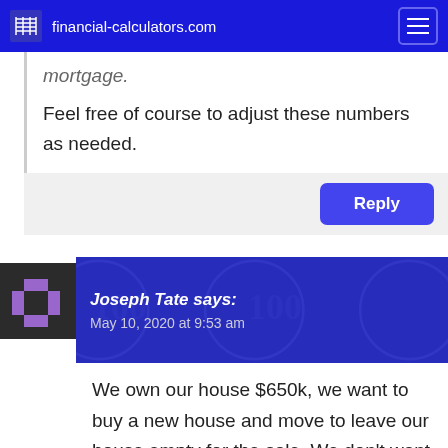financial-calculators.com
mortgage.
Feel free of course to adjust these numbers as needed.
Reply
Joseph Tate says:
May 10, 2020 at 9:53 am
We own our house $650k, we want to buy a new house and move to leave our house empty for the sale. We don't want to cash in